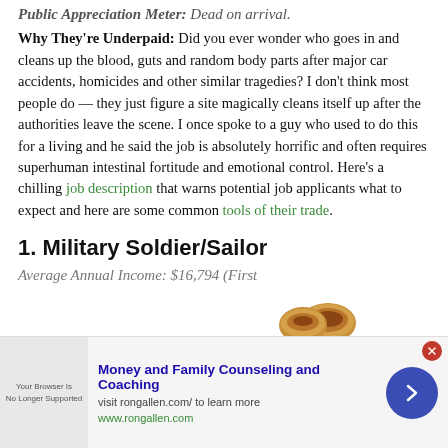Public Appreciation Meter: Dead on arrival.
Why They're Underpaid: Did you ever wonder who goes in and cleans up the blood, guts and random body parts after major car accidents, homicides and other similar tragedies? I don't think most people do — they just figure a site magically cleans itself up after the authorities leave the scene. I once spoke to a guy who used to do this for a living and he said the job is absolutely horrific and often requires superhuman intestinal fortitude and emotional control. Here's a chilling job description that warns potential job applicants what to expect and here are some common tools of their trade.
1. Military Soldier/Sailor
Average Annual Income: $16,794 (First...
[Figure (photo): Partially visible food items (baked goods/cinnamon rolls) overlapping the income line at bottom right]
[Figure (screenshot): Advertisement banner: Money and Family Counseling and Coaching, visit rongallen.com/ to learn more, www.rongallen.com, with thumbnail image of browser/document and blue circular arrow button, and red close button]